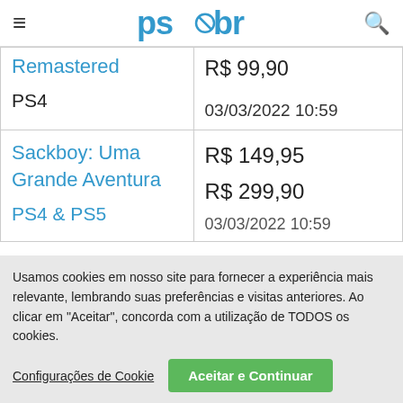ps*br
| Remastered
PS4 | R$ 99,90
03/03/2022 10:59 |
| Sackboy: Uma Grande Aventura
PS4 & PS5 | R$ 149,95
R$ 299,90
03/03/2022 10:59 |
Usamos cookies em nosso site para fornecer a experiência mais relevante, lembrando suas preferências e visitas anteriores. Ao clicar em "Aceitar", concorda com a utilização de TODOS os cookies.
Configurações de Cookie
Aceitar e Continuar